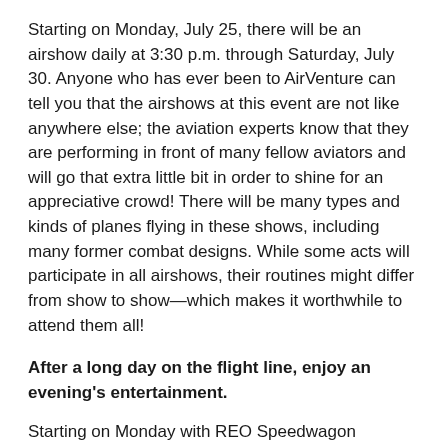Starting on Monday, July 25, there will be an airshow daily at 3:30 p.m. through Saturday, July 30. Anyone who has ever been to AirVenture can tell you that the airshows at this event are not like anywhere else; the aviation experts know that they are performing in front of many fellow aviators and will go that extra little bit in order to shine for an appreciative crowd! There will be many types and kinds of planes flying in these shows, including many former combat designs. While some acts will participate in all airshows, their routines might differ from show to show—which makes it worthwhile to attend them all!
After a long day on the flight line, enjoy an evening's entertainment.
Starting on Monday with REO Speedwagon performing for the annual opening concert, there will be the evening entertainment for which the EAA AirVenture has become